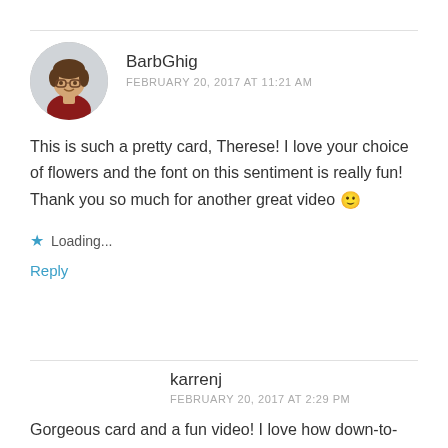[Figure (photo): Round avatar photo of BarbGhig, a woman with glasses and short dark hair wearing a red turtleneck]
BarbGhig
FEBRUARY 20, 2017 AT 11:21 AM
This is such a pretty card, Therese! I love your choice of flowers and the font on this sentiment is really fun! Thank you so much for another great video 🙂
★ Loading...
Reply
karrenj
FEBRUARY 20, 2017 AT 2:29 PM
Gorgeous card and a fun video! I love how down-to-earth you